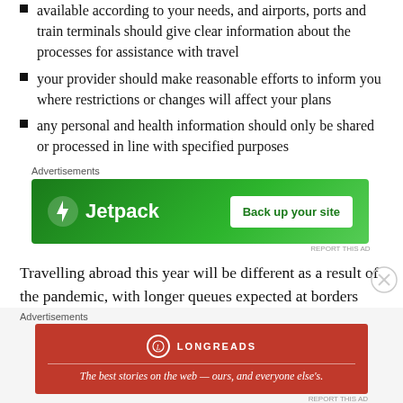available according to your needs, and airports, ports and train terminals should give clear information about the processes for assistance with travel
your provider should make reasonable efforts to inform you where restrictions or changes will affect your plans
any personal and health information should only be shared or processed in line with specified purposes
[Figure (other): Jetpack advertisement banner: green background, Jetpack logo with lightning bolt icon, 'Back up your site' button]
Travelling abroad this year will be different as a result of the pandemic, with longer queues expected at borders
[Figure (other): Longreads advertisement: red background, Longreads logo, tagline 'The best stories on the web — ours, and everyone else's.']